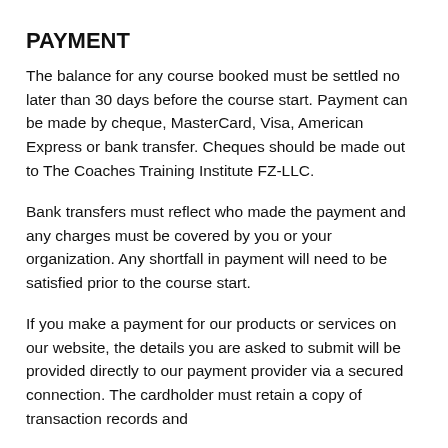PAYMENT
The balance for any course booked must be settled no later than 30 days before the course start. Payment can be made by cheque, MasterCard, Visa, American Express or bank transfer. Cheques should be made out to The Coaches Training Institute FZ-LLC.
Bank transfers must reflect who made the payment and any charges must be covered by you or your organization. Any shortfall in payment will need to be satisfied prior to the course start.
If you make a payment for our products or services on our website, the details you are asked to submit will be provided directly to our payment provider via a secured connection. The cardholder must retain a copy of transaction records and